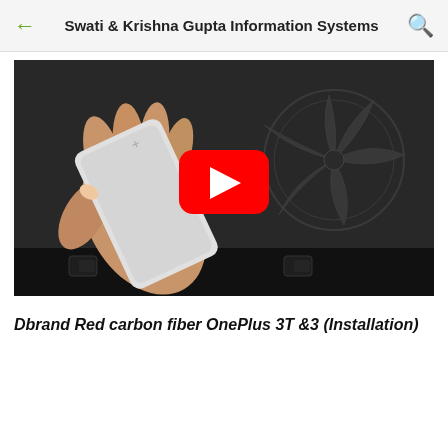Swati & Krishna Gupta Information Systems
[Figure (screenshot): YouTube video thumbnail showing a hand holding a OnePlus 3T device over a laptop cooling pad with fan grilles visible. A red YouTube play button is overlaid in the center.]
Dbrand Red carbon fiber OnePlus 3T &3 (Installation)